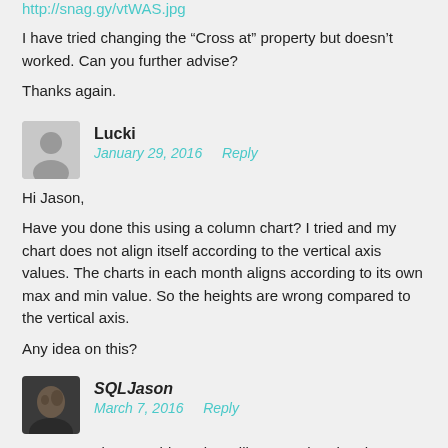http://snag.gy/vtWAS.jpg
I have tried changing the “Cross at” property but doesn’t worked. Can you further advise?
Thanks again.
Lucki
January 29, 2016   Reply
Hi Jason,
Have you done this using a column chart? I tried and my chart does not align itself according to the vertical axis values. The charts in each month aligns according to its own max and min value. So the heights are wrong compared to the vertical axis.
Any idea on this?
SQLJason
March 7, 2016   Reply
You can update...? This option will ensure that the chart stays full...